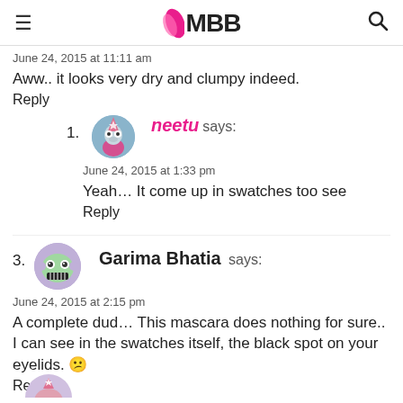IMBB
June 24, 2015 at 11:11 am
Aww.. it looks very dry and clumpy indeed.
Reply
1. neetu says: June 24, 2015 at 1:33 pm Yeah... It come up in swatches too see Reply
3. Garima Bhatia says: June 24, 2015 at 2:15 pm A complete dud... This mascara does nothing for sure.. I can see in the swatches itself, the black spot on your eyelids. Reply